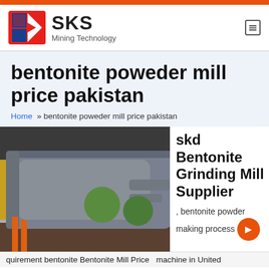SKS Mining Technology
bentonite poweder mill price pakistan
Home » bentonite poweder mill price pakistan
[Figure (photo): Photo of a bentonite grinding mill machine component, grey industrial equipment mounted indoors near windows with greenery outside]
skd Bentonite Grinding Mill Supplier
, bentonite powder making process
quirement bentonite Bentonite Mill Price  machine in United